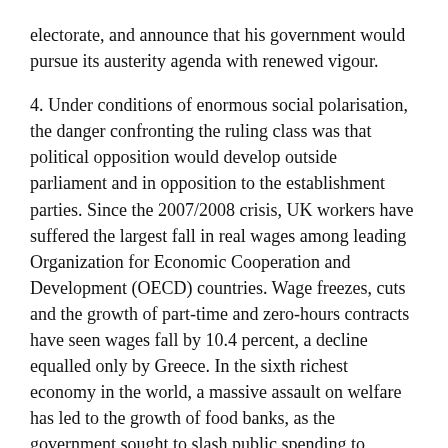electorate, and announce that his government would pursue its austerity agenda with renewed vigour.
4. Under conditions of enormous social polarisation, the danger confronting the ruling class was that political opposition would develop outside parliament and in opposition to the establishment parties. Since the 2007/2008 crisis, UK workers have suffered the largest fall in real wages among leading Organization for Economic Cooperation and Development (OECD) countries. Wage freezes, cuts and the growth of part-time and zero-hours contracts have seen wages fall by 10.4 percent, a decline equalled only by Greece. In the sixth richest economy in the world, a massive assault on welfare has led to the growth of food banks, as the government sought to slash public spending to approximately 35 percent of GDP, equivalent to the US and the lowest level in Britain since the 1930s. The gulf between the super-rich and the mass of working people has assumed monstrous dimensions. In